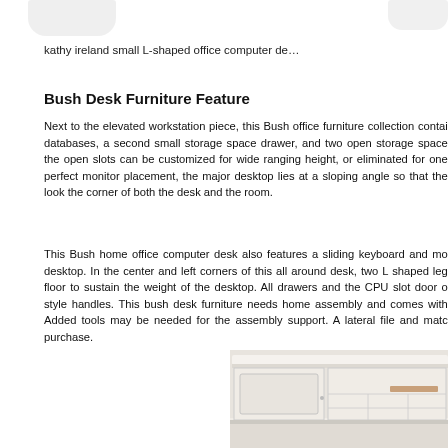[Figure (photo): Partial view of a light-colored desk/furniture item at top left]
[Figure (photo): Partial view of a desk/furniture item at top right]
kathy ireland small L-shaped office computer de…
Bush Desk Furniture Feature
Next to the elevated workstation piece, this Bush office furniture collection contai… databases, a second small storage space drawer, and two open storage space… the open slots can be customized for wide ranging height, or eliminated for one… perfect monitor placement, the major desktop lies at a sloping angle so that the… look the corner of both the desk and the room.
This Bush home office computer desk also features a sliding keyboard and mo… desktop. In the center and left corners of this all around desk, two L shaped leg… floor to sustain the weight of the desktop. All drawers and the CPU slot door o… style handles. This bush desk furniture needs home assembly and comes with… Added tools may be needed for the assembly support. A lateral file and matc… purchase.
[Figure (photo): White furniture cabinet/hutch unit shown at bottom right of page]